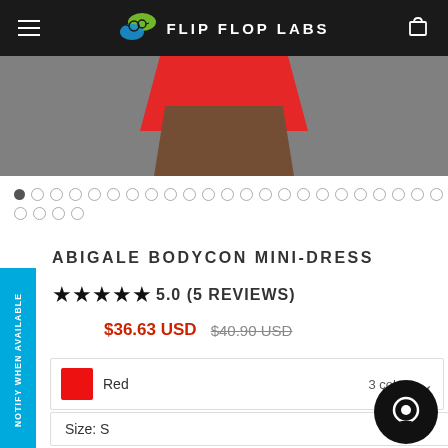FLIP FLOP LABS
[Figure (photo): Product photo showing lower body in red bodycon mini dress against grey background]
[Figure (other): Image carousel dot indicators, first dot filled]
ABIGALE BODYCON MINI-DRESS
5.0 (5 REVIEWS)
$36.63 USD  $40.90 USD
Red  3 colors
Size: S
NOTIFY WHEN AVAILABLE